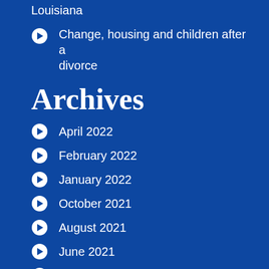Louisiana
Change, housing and children after a divorce
Archives
April 2022
February 2022
January 2022
October 2021
August 2021
June 2021
May 2021